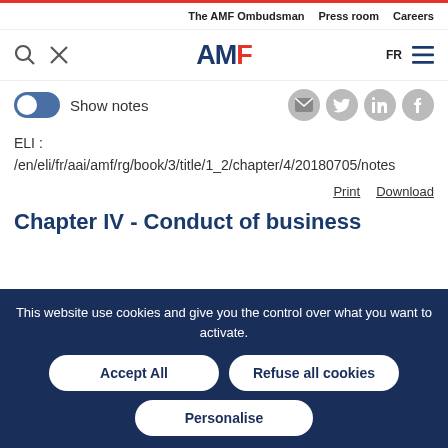The AMF Ombudsman   Press room   Careers
AMF [logo] FR
Show notes
ELI : /en/eli/fr/aai/amf/rg/book/3/title/1_2/chapter/4/20180705/notes
Print   Download
Chapter IV - Conduct of business
This website use cookies and give you the control over what you want to activate.
Accept All   Refuse all cookies   Personalise